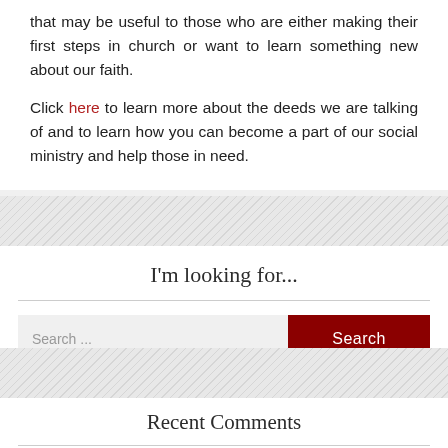that may be useful to those who are either making their first steps in church or want to learn something new about our faith.
Click here to learn more about the deeds we are talking of and to learn how you can become a part of our social ministry and help those in need.
I'm looking for...
Search ...
Recent Comments
Anastasios M Ioannides on The Meaning of Various Inscriptions i